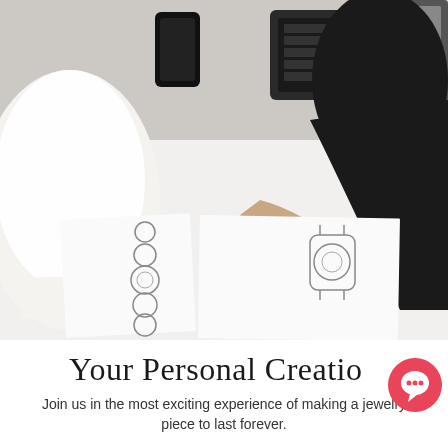[Figure (photo): Two people at a white desk reviewing jewelry design sketches. One person wearing a white lace outfit with a ring on finger, other wearing black shirt with a ring, holding a pen drawing bracelet/watch sketches on paper. A keyboard and monitor visible in the background.]
Your Personal Creation
Join us in the most exciting experience of making a jewelry piece to last forever.